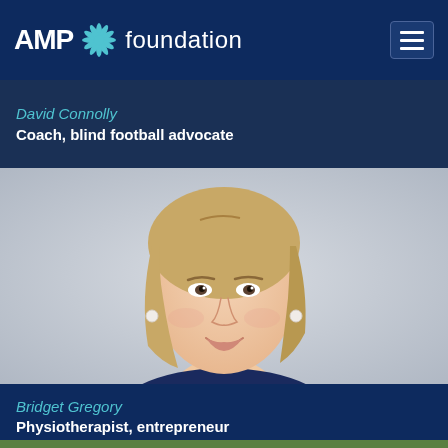AMP Foundation
David Connolly
Coach, blind football advocate
[Figure (photo): Portrait photo of Bridget Gregory, a woman with blonde bob-length hair, smiling, wearing a dark floral dress, against a light grey background.]
Bridget Gregory
Physiotherapist, entrepreneur